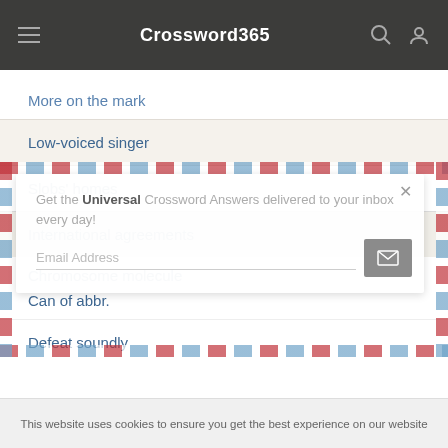Crossword365
More on the mark
Low-voiced singer
Slobs' homes
International agreements
Chromosome molecule
Can of abbr.
Defeat soundly
Get the Universal Crossword Answers delivered to your inbox every day!
Email Address
This website uses cookies to ensure you get the best experience on our website